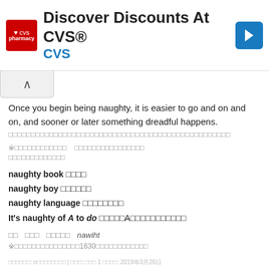[Figure (other): CVS Pharmacy advertisement banner with logo, 'Discover Discounts At CVS®' heading, 'CVS' subtext, and blue navigation arrow icon]
Once you begin being naughty, it is easier to go and on and on, and sooner or later something dreadful happens.
[Japanese text line]
※[Japanese note text]   [Japanese note text]
[Japanese note text]
naughty book [Japanese]
naughty boy [Japanese]
naughty language [Japanese]
It's naughty of A to do [Japanese]A[Japanese]
[Japanese]   [Japanese]   [Japanese]   nawiht
※[Japanese]1630[Japanese]
[Japanese] n[Japanese] | [Japanese]: [Japanese] 1 [Japanese]: 2019年3月26日